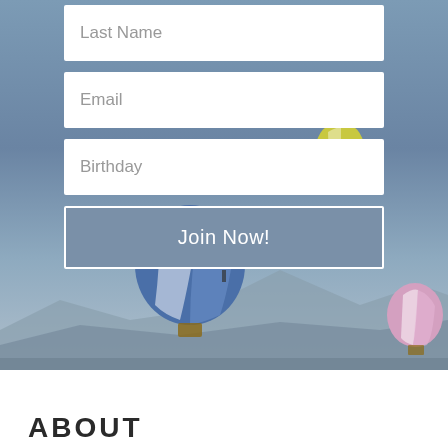[Figure (screenshot): Web signup form on a sky/hot air balloon background. Form fields for Last Name, Email, Birthday, and a Join Now! button. Below is a white section with ABOUT heading.]
Last Name
Email
Birthday
Join Now!
ABOUT